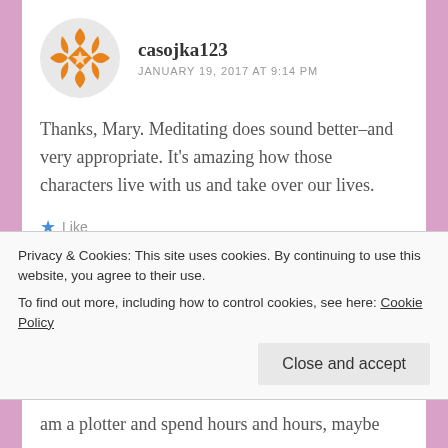casojka123
JANUARY 19, 2017 AT 9:14 PM
Thanks, Mary. Meditating does sound better–and very appropriate. It's amazing how those characters live with us and take over our lives.
Like
mary adler
Privacy & Cookies: This site uses cookies. By continuing to use this website, you agree to their use.
To find out more, including how to control cookies, see here: Cookie Policy
Close and accept
am a plotter and spend hours and hours, maybe